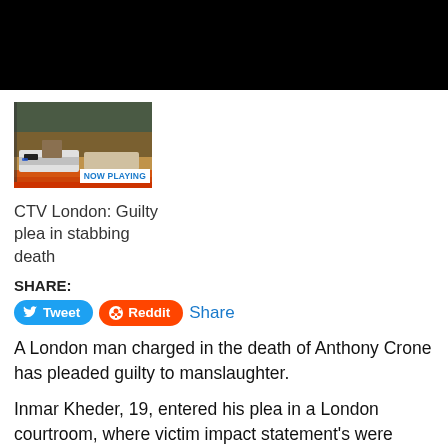[Figure (screenshot): Black banner/video player area at top of news page]
[Figure (photo): Video thumbnail showing police car outside building with NOW PLAYING badge]
CTV London: Guilty plea in stabbing death
SHARE:
Tweet  Reddit  Share
A London man charged in the death of Anthony Crone has pleaded guilty to manslaughter.
Inmar Kheder, 19, entered his plea in a London courtroom, where victim impact statement's were made Monday.